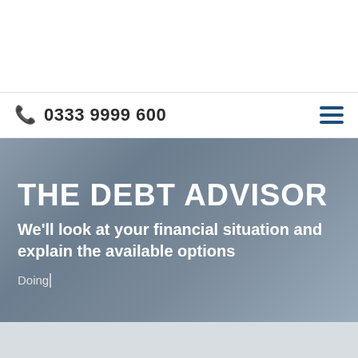0333 9999 600
THE DEBT ADVISOR
We'll look at your financial situation and explain the available options
Doing